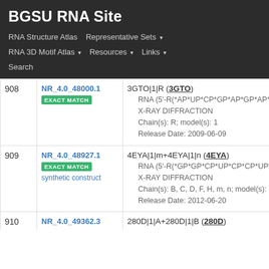BGSU RNA Site
RNA Structure Atlas | Representative Sets ▾ | RNA 3D Motif Atlas ▾ | Resources ▾ | Links ▾ | Search
| # | ID | Info |
| --- | --- | --- |
| 908 | NR_4.0_48000.1
EXACT MATCH | 3GTO|1|R (3GTO)
• RNA (5'-R(*AP*UP*CP*GP*AP*GP*AP*GP*GP*A...
• X-RAY DIFFRACTION
• Chain(s): R; model(s): 1
• Release Date: 2009-06-09 |
| 909 | NR_4.0_48927.1
EXACT MATCH
synthetic construct | 4EYA|1|m+4EYA|1|n (4EYA)
• RNA (5'-R(*GP*GP*CP*UP*CP*CP*UP*UP*GP*G...
• X-RAY DIFFRACTION
• Chain(s): B, C, D, F, H, m, n; model(s): 1
• Release Date: 2012-06-20 |
| 910 | NR_4.0_49362.3 | 280D|1|A+280D|1|B (280D) |